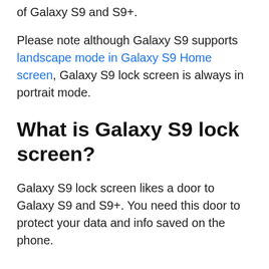of Galaxy S9 and S9+.
Please note although Galaxy S9 supports landscape mode in Galaxy S9 Home screen, Galaxy S9 lock screen is always in portrait mode.
What is Galaxy S9 lock screen?
Galaxy S9 lock screen likes a door to Galaxy S9 and S9+. You need this door to protect your data and info saved on the phone.